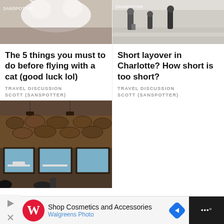[Figure (photo): Close-up photo of a white fluffy cat on a textured surface with a watermark logo in top-left corner]
[Figure (photo): Photo of people walking through an airport terminal with luggage, watermark logo visible]
The 5 things you must to do before flying with a cat (good luck lol)
TRAVEL DISCUSSION
SCOTT (SANSPOTTER)
Short layover in Charlotte? How short is too short?
TRAVEL DISCUSSION
SCOTT (SANSPOTTER)
[Figure (photo): Interior of an airport lounge with wood-panel walls, large windows showing planes on tarmac, and people seated]
Shop Cosmetics and Accessories Walgreens Photo